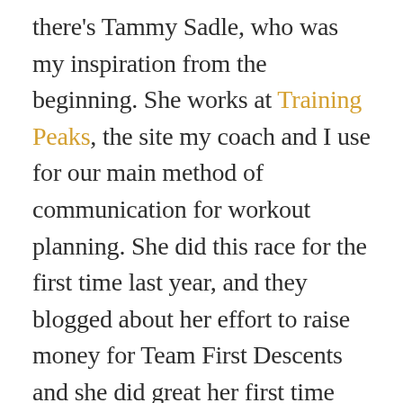there's Tammy Sadle, who was my inspiration from the beginning. She works at Training Peaks, the site my coach and I use for our main method of communication for workout planning. She did this race for the first time last year, and they blogged about her effort to raise money for Team First Descents and she did great her first time out. I followed her progress, but also made a small donation to her fund raising effort, which resulted in her being nice enough to reach out to me via social media. Seeing how well she did made me want to try it, too. Happy to say she's a friend now, too!